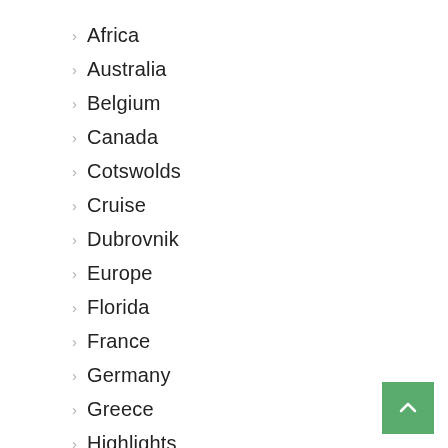Africa
Australia
Belgium
Canada
Cotswolds
Cruise
Dubrovnik
Europe
Florida
France
Germany
Greece
Highlights
Italy